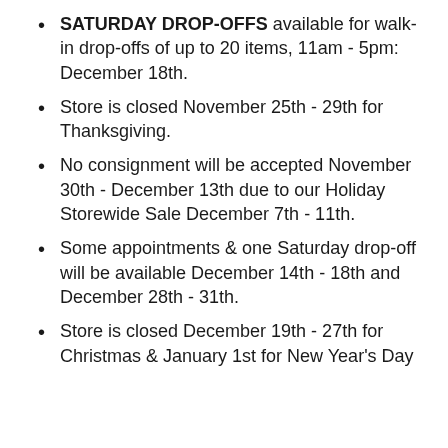SATURDAY DROP-OFFS available for walk-in drop-offs of up to 20 items, 11am - 5pm: December 18th.
Store is closed November 25th - 29th for Thanksgiving.
No consignment will be accepted November 30th - December 13th due to our Holiday Storewide Sale December 7th - 11th.
Some appointments & one Saturday drop-off will be available December 14th - 18th and December 28th - 31th.
Store is closed December 19th - 27th for Christmas & January 1st for New Year's Day